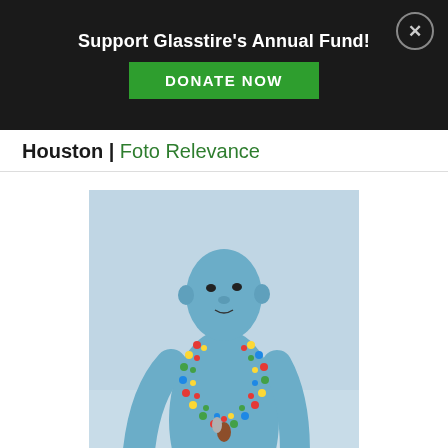Support Glasstire's Annual Fund! DONATE NOW
Houston | Foto Relevance
[Figure (photo): A person with blue body paint wearing colorful beaded necklaces and a red wrap skirt, standing outdoors against a light sky background.]